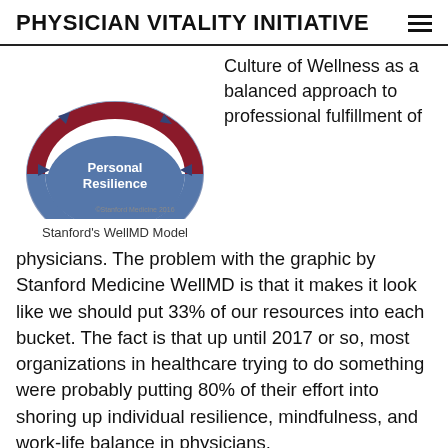PHYSICIAN VITALITY INITIATIVE
[Figure (infographic): Stanford WellMD Model diagram showing a semicircular graphic with dark blue/steel blue lower half labeled 'Personal Resilience' and dark red upper arcs, with arrows pointing inward and outward. Copyright Stanford Medicine 2016.]
Stanford's WellMD Model
Culture of Wellness as a balanced approach to professional fulfillment of physicians. The problem with the graphic by Stanford Medicine WellMD is that it makes it look like we should put 33% of our resources into each bucket. The fact is that up until 2017 or so, most organizations in healthcare trying to do something were probably putting 80% of their effort into shoring up individual resilience, mindfulness, and work-life balance in physicians.